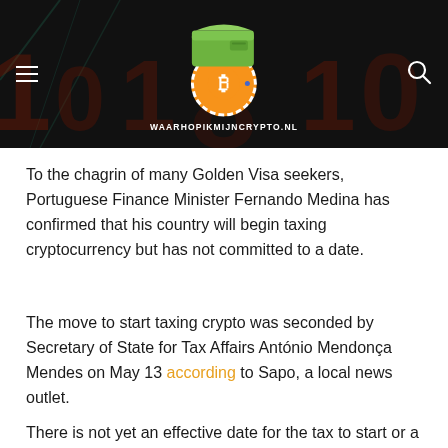waarhopikmijncrypto.nl
To the chagrin of many Golden Visa seekers, Portuguese Finance Minister Fernando Medina has confirmed that his country will begin taxing cryptocurrency but has not committed to a date.
The move to start taxing crypto was seconded by Secretary of State for Tax Affairs António Mendonça Mendes on May 13 according to Sapo, a local news outlet.
There is not yet an effective date for the tax to start or a set rate, however. It will be levied on investments again...